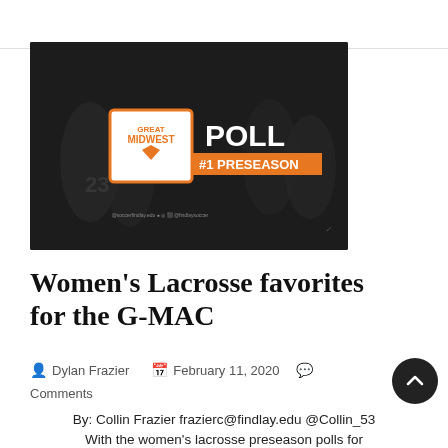[Figure (photo): Dark background sports photo with 'Great Midwest POLL #1 PRESEASON' graphic overlay in orange and white]
Women’s Lacrosse favorites for the G-MAC
Dylan Frazier   February 11, 2020   Comments
By: Collin Frazier frazierc@findlay.edu @Collin_53  With the women’s lacrosse preseason polls for